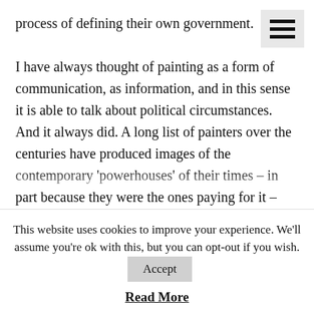process of defining their own government.

I have always thought of painting as a form of communication, as information, and in this sense it is able to talk about political circumstances. And it always did. A long list of painters over the centuries have produced images of the contemporary 'powerhouses' of their times – in part because they were the ones paying for it – and painting big political events. If we think of Goya, he painted the Spanish royal family in a very ironic way, and also the cruelties of war, which can be easily read as social critique. Painting is
This website uses cookies to improve your experience. We'll assume you're ok with this, but you can opt-out if you wish.
Read More